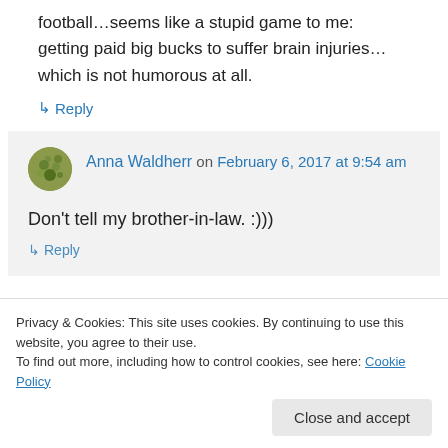football…seems like a stupid game to me: getting paid big bucks to suffer brain injuries… which is not humorous at all.
↳ Reply
Anna Waldherr on February 6, 2017 at 9:54 am
Don't tell my brother-in-law. :)))
↳ Reply
Privacy & Cookies: This site uses cookies. By continuing to use this website, you agree to their use. To find out more, including how to control cookies, see here: Cookie Policy
Close and accept
Trust me, I keep my lips zipped–lots